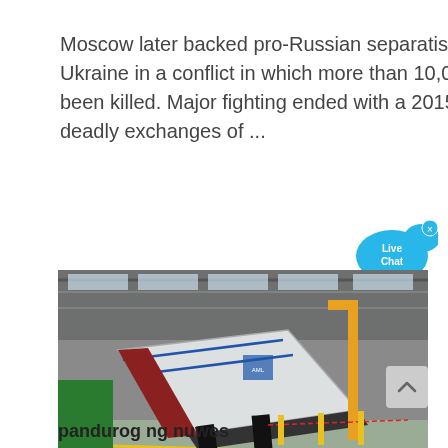Moscow later backed pro-Russian separatists in eastern Ukraine in a conflict in which more than 10,000 people have been killed. Major fighting ended with a 2015 ceasefire but deadly exchanges of ...
[Figure (photo): Industrial factory interior showing a large white vibrating screen or sorting machine tilted at an angle inside a large warehouse with metal roof structure, cranes, and yellow safety barriers.]
pandurog ng nuwes